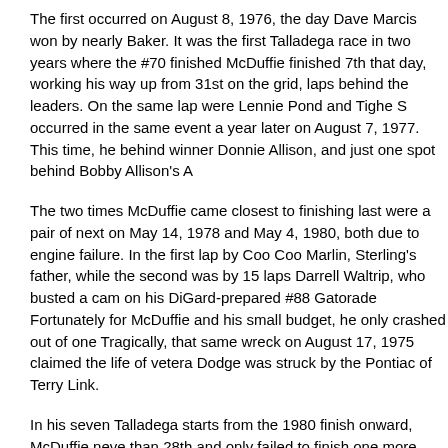The first occurred on August 8, 1976, the day Dave Marcis won by nearly Baker. It was the first Talladega race in two years where the #70 finished McDuffie finished 7th that day, working his way up from 31st on the grid, laps behind the leaders. On the same lap were Lennie Pond and Tighe S occurred in the same event a year later on August 7, 1977. This time, he behind winner Donnie Allison, and just one spot behind Bobby Allison's A
The two times McDuffie came closest to finishing last were a pair of next on May 14, 1978 and May 4, 1980, both due to engine failure. In the first lap by Coo Coo Marlin, Sterling's father, while the second was by 15 laps Darrell Waltrip, who busted a cam on his DiGard-prepared #88 Gatorade Fortunately for McDuffie and his small budget, he only crashed out of one Tragically, that same wreck on August 17, 1975 claimed the life of vetera Dodge was struck by the Pontiac of Terry Link.
In his seven Talladega starts from the 1980 finish onward, McDuffie neve than 28th and only failed to finish one more time, a burned piston in the h Yarborough's win on July 28, 1985.
However, in the crescendo toward the institution of carburetor restrictor-p McDuffie began to have trouble qualifying. From 1981 through 1987, he attempts, including both races in 1984 and 1986. His final start at the tra 1987, two months after Davey Allison's first career win. The #70 Rumple started 35th in the field of 40 and finished 25th, the third-to-last car to cro power.